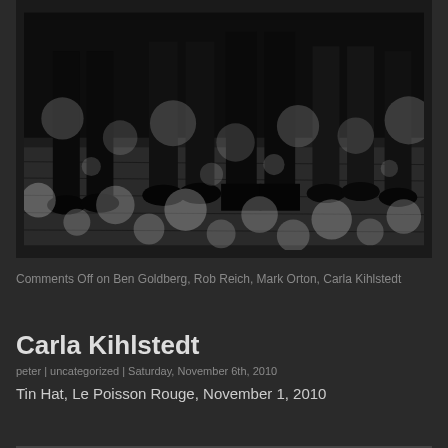[Figure (photo): Black and white photograph showing people's legs and feet on a wooden floor with bokeh light circles scattered across the image. The scene appears to be a music venue or performance space.]
Comments Off on Ben Goldberg, Rob Reich, Mark Orton, Carla Kihlstedt
Carla Kihlstedt
peter | uncategorized | Saturday, November 6th, 2010
Tin Hat, Le Poisson Rouge, November 1, 2010